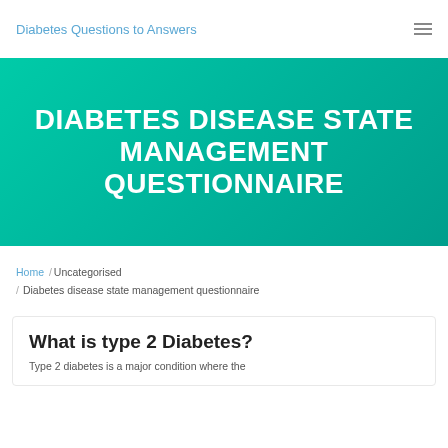Diabetes Questions to Answers
DIABETES DISEASE STATE MANAGEMENT QUESTIONNAIRE
Home /Uncategorised / Diabetes disease state management questionnaire
What is type 2 Diabetes?
Type 2 diabetes is a major condition where the